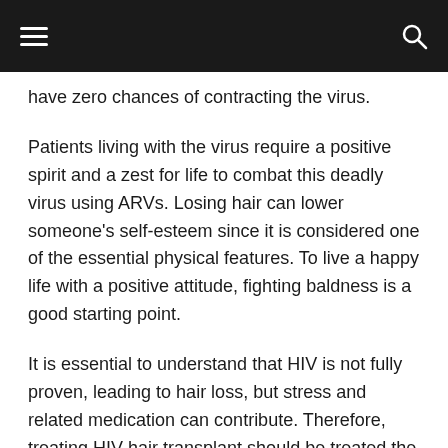≡  [navigation bar]  🔍
have zero chances of contracting the virus.
Patients living with the virus require a positive spirit and a zest for life to combat this deadly virus using ARVs. Losing hair can lower someone's self-esteem since it is considered one of the essential physical features. To live a happy life with a positive attitude, fighting baldness is a good starting point.
It is essential to understand that HIV is not fully proven, leading to hair loss, but stress and related medication can contribute. Therefore, treating HIV hair transplant should be treated the same way as any other HIV negative patient. Regarding the procedure, both follicular unit extraction (FUE) and follicular unit strip surgery (FUSS) are performed with